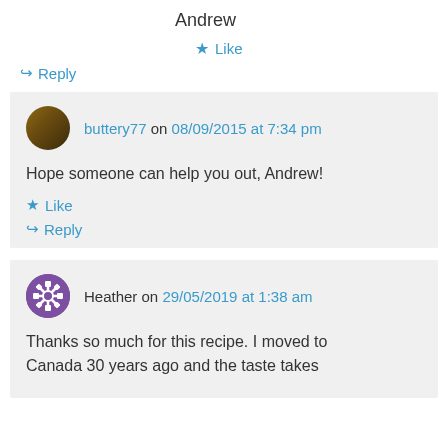Andrew
★ Like
↪ Reply
buttery77 on 08/09/2015 at 7:34 pm
Hope someone can help you out, Andrew!
★ Like
↪ Reply
Heather on 29/05/2019 at 1:38 am
Thanks so much for this recipe. I moved to Canada 30 years ago and the taste takes